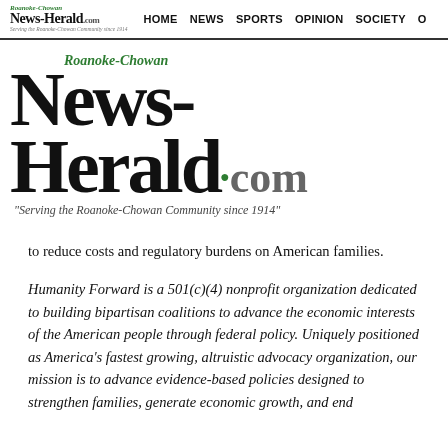Roanoke-Chowan News-Herald.com HOME NEWS SPORTS OPINION SOCIETY O
[Figure (logo): Roanoke-Chowan News-Herald.com masthead logo with italic green 'Roanoke-Chowan' text above large black 'News-Herald.com' and italic tagline 'Serving the Roanoke-Chowan Community since 1914']
to reduce costs and regulatory burdens on American families.
Humanity Forward is a 501(c)(4) nonprofit organization dedicated to building bipartisan coalitions to advance the economic interests of the American people through federal policy. Uniquely positioned as America's fastest growing, altruistic advocacy organization, our mission is to advance evidence-based policies designed to strengthen families, generate economic growth, and end